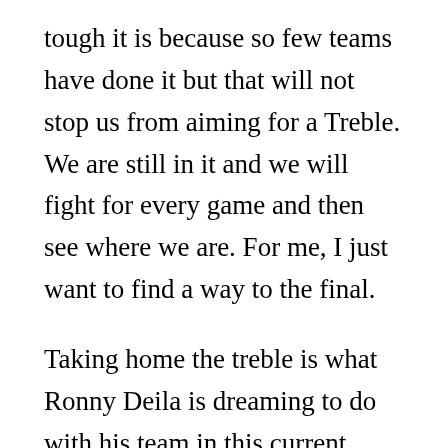tough it is because so few teams have done it but that will not stop us from aiming for a Treble. We are still in it and we will fight for every game and then see where we are. For me, I just want to find a way to the final.
Taking home the treble is what Ronny Deila is dreaming to do with his team in this current season but it will be extremely difficult as any drop of points or defeats could see his dream go from being a possibility to an impossible task.